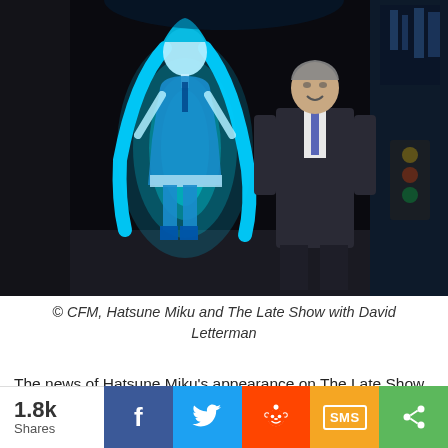[Figure (photo): Stage photo of Hatsune Miku hologram (glowing teal anime figure) standing next to David Letterman in a dark suit, on a stage. Late Show set visible in background.]
© CFM, Hatsune Miku and The Late Show with David Letterman
The news of Hatsune Miku's appearance on The Late Show with David Letterman has made big waves online with many news reports, and more recently on twitter with the airing of the show on the East Coast of the United States. This comes as no surprise, as it was her biggest debut on U.S. television to date.
1.8k Shares